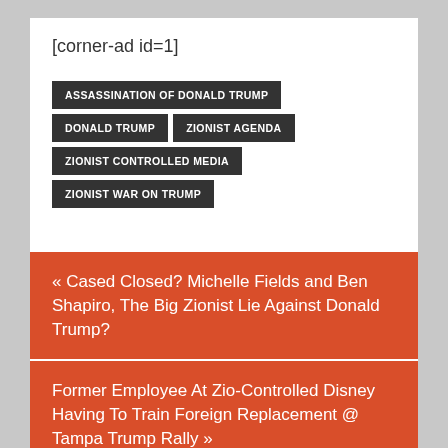[corner-ad id=1]
ASSASSINATION OF DONALD TRUMP
DONALD TRUMP
ZIONIST AGENDA
ZIONIST CONTROLLED MEDIA
ZIONIST WAR ON TRUMP
« Cased Closed? Michelle Fields and Ben Shapiro, The Big Zionist Lie Against Donald Trump?
Former Employee At Zio-Controlled Disney Having To Train Foreign Replacement @ Tampa Trump Rally »
Comments
Community
Login
Favorite
Sort by Best